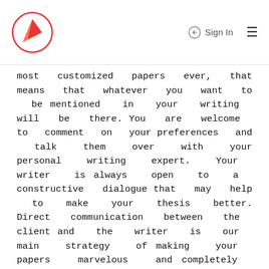Sign In
most customized papers ever, that means that whatever you want to be mentioned in your writing will be there. You are welcome to comment on your preferences and talk them over with your personal writing expert. Your writer is always open to a constructive dialogue that may help to make your thesis better. Direct communication between the client and the writer is our main strategy of making your papers marvelous and completely custom-made. The writing always feels very personal and you feel like you have written it by yourself.
SO, WHY SHOULD ONE CHOOSE US?